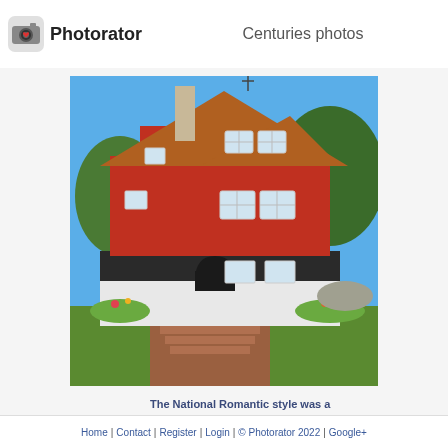Photorator — Centuries photos
[Figure (photo): A red multi-story Nordic house in National Romantic architectural style, photographed on a sunny day with blue sky. The building has a dark copper/brown roof with steep gables, red horizontal wooden cladding, white-trimmed windows, a black lower section, and white masonry base. Steps lead up through a garden with autumn foliage. Located in Apple Bay, Stockholm.]
The National Romantic style was a Nordic architectural style that was part of the National Romantic movement during the late th and early th centuries It is often considered to be a form of Art Nouveau Apple Bay - Stockholm
Home | Contact | Register | Login | © Photorator 2022 | Google+